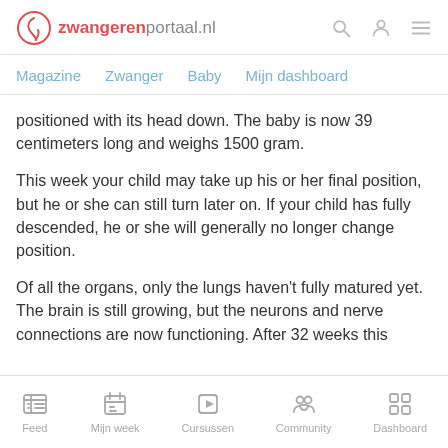zwangerenportaal.nl
Magazine   Zwanger   Baby   Mijn dashboard
positioned with its head down. The baby is now 39 centimeters long and weighs 1500 gram.
This week your child may take up his or her final position, but he or she can still turn later on. If your child has fully descended, he or she will generally no longer change position.
Of all the organs, only the lungs haven't fully matured yet. The brain is still growing, but the neurons and nerve connections are now functioning. After 32 weeks this
Feed   Mijn week   Cursussen   Community   Dashboard